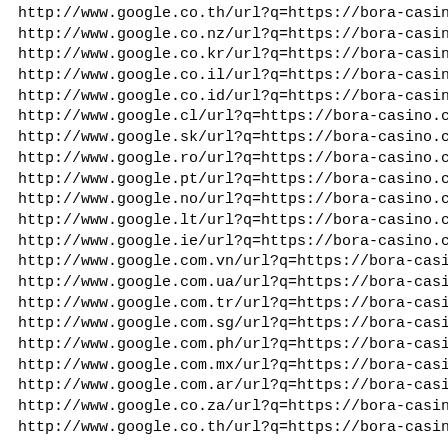http://www.google.co.th/url?q=https://bora-casino.com/
http://www.google.co.nz/url?q=https://bora-casino.com/
http://www.google.co.kr/url?q=https://bora-casino.com/
http://www.google.co.il/url?q=https://bora-casino.com/
http://www.google.co.id/url?q=https://bora-casino.com/
http://www.google.cl/url?q=https://bora-casino.com/
http://www.google.sk/url?q=https://bora-casino.com/
http://www.google.ro/url?q=https://bora-casino.com/
http://www.google.pt/url?q=https://bora-casino.com/
http://www.google.no/url?q=https://bora-casino.com/
http://www.google.lt/url?q=https://bora-casino.com/
http://www.google.ie/url?q=https://bora-casino.com/
http://www.google.com.vn/url?q=https://bora-casino.com/
http://www.google.com.ua/url?q=https://bora-casino.com/
http://www.google.com.tr/url?q=https://bora-casino.com/
http://www.google.com.sg/url?q=https://bora-casino.com/
http://www.google.com.ph/url?q=https://bora-casino.com/
http://www.google.com.mx/url?q=https://bora-casino.com/
http://www.google.com.ar/url?q=https://bora-casino.com/
http://www.google.co.za/url?q=https://bora-casino.com/
http://www.google.co.th/url?q=https://bora-casino.com/